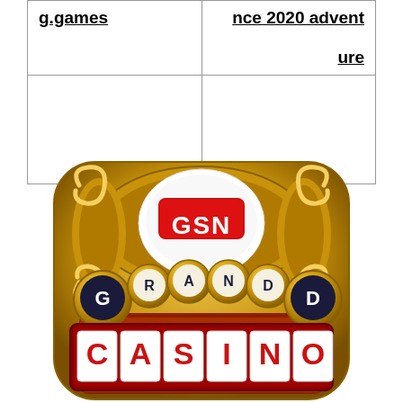| g.games | nce 2020 adventure |
[Figure (logo): GSN Grand Casino app icon — gold ornate rounded-square background with decorative scrolls, white circular badge with red GSN logo at top, gold letter balls spelling GRAND, large G and D flanking, red and white CASINO text marquee sign at bottom]